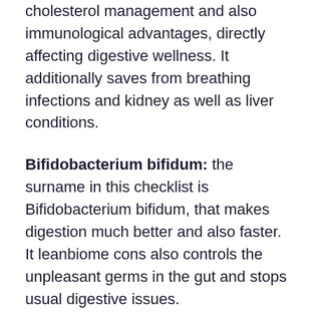cholesterol management and also immunological advantages, directly affecting digestive wellness. It additionally saves from breathing infections and kidney as well as liver conditions.
Bifidobacterium bifidum: the surname in this checklist is Bifidobacterium bifidum, that makes digestion much better and also faster. It leanbiome cons also controls the unpleasant germs in the gut and stops usual digestive issues.
Inulin: This component is prebiotic, which regulates bowel movements and help in food digestion. Without inulin, problems such as unwanted gas, constipation, and also level of acidity may appear, making food digestion unpleasant. Along with that, inulin assists in the